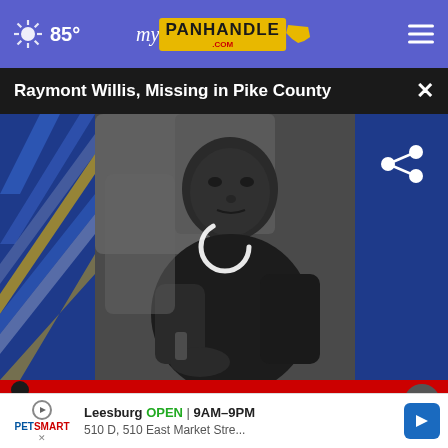85° myPanhandle.com
Raymont Willis, Missing in Pike County
[Figure (photo): Black and white photo of Raymont Willis, a man sitting on a couch wearing a dark t-shirt and necklace. A loading spinner icon is overlaid on the image. Left side shows decorative diagonal blue/gold stripes. Right side is dark blue with a share icon.]
[Figure (photo): Red advertisement banner showing partial text 'DOWN WITH YOUR' with a figure on the left and an X close button on the right]
Leesburg OPEN 9AM–9PM 510 D, 510 East Market Stre... (PetSmart advertisement)